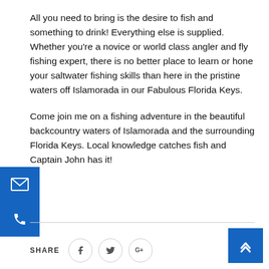All you need to bring is the desire to fish and something to drink! Everything else is supplied. Whether you're a novice or world class angler and fly fishing expert, there is no better place to learn or hone your saltwater fishing skills than here in the pristine waters off Islamorada in our Fabulous Florida Keys.
Come join me on a fishing adventure in the beautiful backcountry waters of Islamorada and the surrounding Florida Keys. Local knowledge catches fish and Captain John has it!
[Figure (other): Blue email icon button on left sidebar]
[Figure (other): Blue phone icon button on left sidebar]
[Figure (other): Blue scroll-to-top chevron button on bottom right]
SHARE